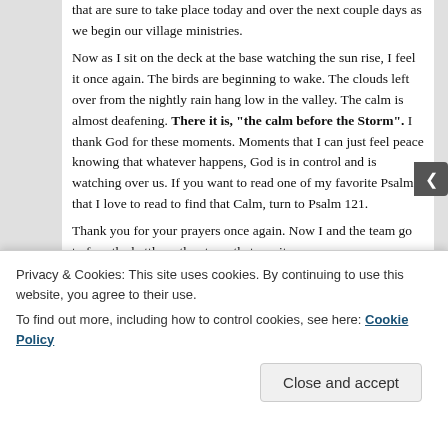that are sure to take place today and over the next couple days as we begin our village ministries.
Now as I sit on the deck at the base watching the sun rise, I feel it once again. The birds are beginning to wake. The clouds left over from the nightly rain hang low in the valley. The calm is almost deafening. There it is, "the calm before the Storm". I thank God for these moments. Moments that I can just feel peace knowing that whatever happens, God is in control and is watching over us. If you want to read one of my favorite Psalms that I love to read to find that Calm, turn to Psalm 121.
Thank you for your prayers once again. Now I and the team go to face the battle or the storm that awaits us.
In His Grip,
Kevin Van Wyhe
Privacy & Cookies: This site uses cookies. By continuing to use this website, you agree to their use.
To find out more, including how to control cookies, see here: Cookie Policy
Close and accept